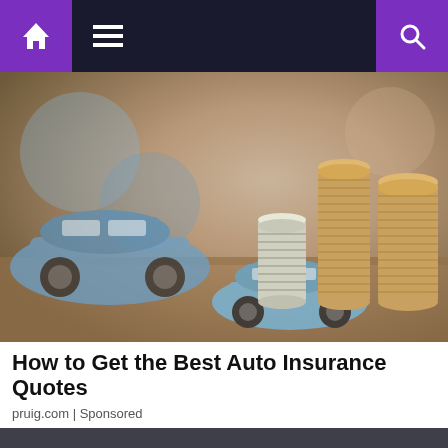Navigation bar with home, menu, and search icons
[Figure (photo): Photo of toy blue cars (simulating a car accident) next to stacks of coins on a wooden surface, blurred background]
How to Get the Best Auto Insurance Quotes
pruig.com | Sponsored
We and our partners use cookies on this site to improve our service, perform analytics, personalize advertising, measure advertising performance, and remember website preferences.